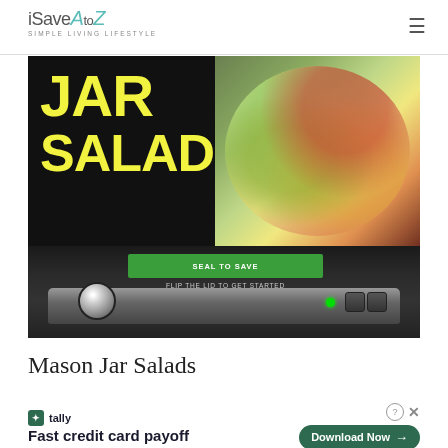iSaveAtoZ - Simple Living Lifestyle
[Figure (photo): Composite image: top half shows yellow bold text 'JAR SALADS' on black background with a photo of a salad plate on the right; bottom half shows a vacuum food sealer device with green banner and controls]
Mason Jar Salads
[Figure (infographic): Advertisement banner: Tally app - Fast credit card payoff - Download Now button]